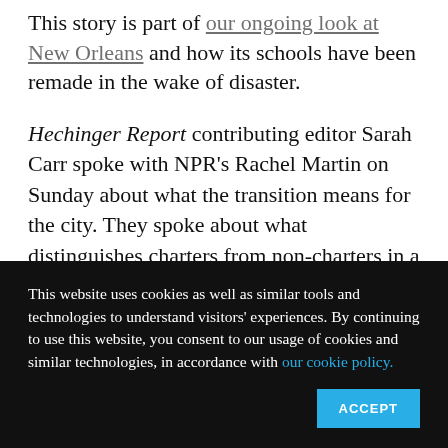This story is part of our ongoing look at New Orleans and how its schools have been remade in the wake of disaster.
Hechinger Report contributing editor Sarah Carr spoke with NPR's Rachel Martin on Sunday about what the transition means for the city. They spoke about what distinguishes charters from non-charters in a practical sense, with a focus on the experiences of students and famili...
This website uses cookies as well as similar tools and technologies to understand visitors' experiences. By continuing to use this website, you consent to our usage of cookies and similar technologies, in accordance with our cookie policy.